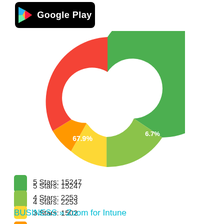[Figure (logo): Google Play store logo — black rounded rectangle with colored triangle icon and white 'Google Play' text]
[Figure (donut-chart): Google Play ratings distribution]
5 Stars: 15247
4 Stars: 2253
3 Stars: 1502
2 Stars: 901
1 Star: 2553
BUSINESS » Zoom for Intune